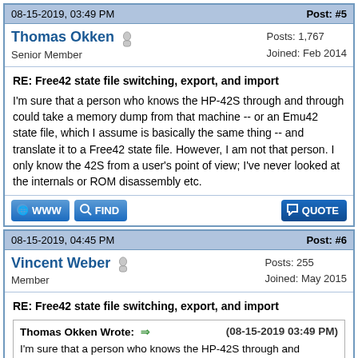08-15-2019, 03:49 PM | Post: #5
Thomas Okken | Senior Member | Posts: 1,767 | Joined: Feb 2014
RE: Free42 state file switching, export, and import
I'm sure that a person who knows the HP-42S through and through could take a memory dump from that machine -- or an Emu42 state file, which I assume is basically the same thing -- and translate it to a Free42 state file. However, I am not that person. I only know the 42S from a user's point of view; I've never looked at the internals or ROM disassembly etc.
08-15-2019, 04:45 PM | Post: #6
Vincent Weber | Member | Posts: 255 | Joined: May 2015
RE: Free42 state file switching, export, and import
Thomas Okken Wrote: (08-15-2019 03:49 PM)
I'm sure that a person who knows the HP-42S through and through could take a memory dump from that machine -- or an Emu42 state file, which I assume is basically the same thing --